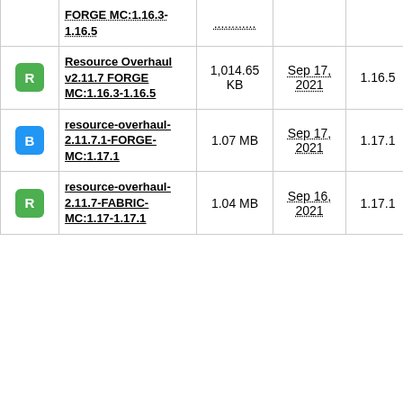|  | Name | Size | Date | Version |  | Downloads |
| --- | --- | --- | --- | --- | --- | --- |
|  | FORGE MC:1.16.3-1.16.5 | ............ |  |  |  |  |
| R | Resource Overhaul v2.11.7 FORGE MC:1.16.3-1.16.5 | 1,014.65 KB | Sep 17, 2021 | 1.16.5 | +3 | 122 |
| B | resource-overhaul-2.11.7.1-FORGE-MC:1.17.1 | 1.07 MB | Sep 17, 2021 | 1.17.1 | +1 | 177 |
| R | resource-overhaul-2.11.7-FABRIC-MC:1.17-1.17.1 | 1.04 MB | Sep 16, 2021 | 1.17.1 | +3 | 195 |